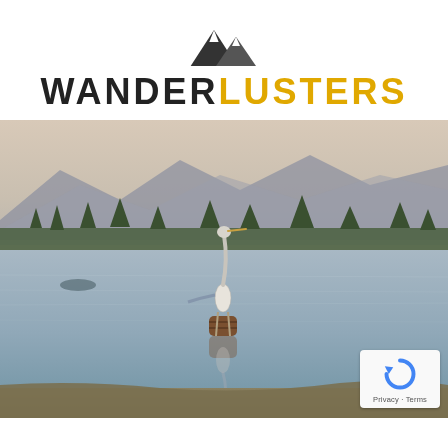[Figure (logo): WanderLusters logo with mountain peak icon above the text 'WANDERLUSTERS' where WANDER is black and LUSTERS is golden/yellow]
[Figure (photo): A heron or egret standing on a barrel or buoy in the middle of a calm lake or river, with its reflection visible in the still water. Trees and mountains are visible in the background. Soft evening light gives a pastel hue to the scene. A reCAPTCHA badge is overlaid in the bottom-right corner.]